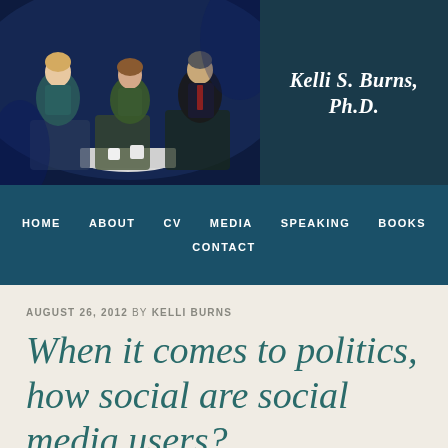[Figure (photo): Three people seated in a TV studio setting having a discussion, two women and one man around a small round table with cups, dark background with blue lighting.]
Kelli S. Burns, Ph.D.
HOME  ABOUT  CV  MEDIA  SPEAKING  BOOKS  CONTACT
AUGUST 26, 2012 BY KELLI BURNS
When it comes to politics, how social are social media users?